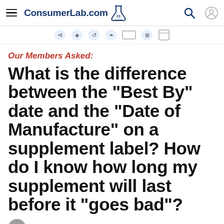ConsumerLab.com 23 Years
Our Members Asked:
What is the difference between the "Best By" date and the "Date of Manufacture" on a supplement label? How do I know how long my supplement will last before it "goes bad"?
Medically reviewed and edited by Tod Cooperman